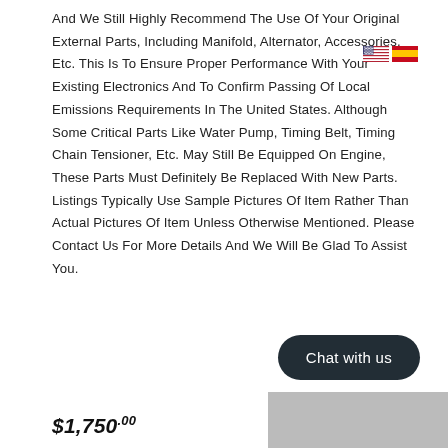And We Still Highly Recommend The Use Of Your Original External Parts, Including Manifold, Alternator, Accessories, Etc. This Is To Ensure Proper Performance With Your Existing Electronics And To Confirm Passing Of Local Emissions Requirements In The United States. Although Some Critical Parts Like Water Pump, Timing Belt, Timing Chain Tensioner, Etc. May Still Be Equipped On Engine, These Parts Must Definitely Be Replaced With New Parts. Listings Typically Use Sample Pictures Of Item Rather Than Actual Pictures Of Item Unless Otherwise Mentioned. Please Contact Us For More Details And We Will Be Glad To Assist You.
[Figure (other): US flag and Spanish flag icons displayed inline near top right of text]
[Figure (other): Dark rounded pill-shaped chat button labeled 'Chat with us']
$1,750.00